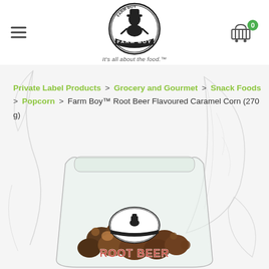Farm Boy – It's all about the food.
Private Label Products > Grocery and Gourmet > Snack Foods > Popcorn > Farm Boy™ Root Beer Flavoured Caramel Corn (270 g)
[Figure (photo): Transparent bag of Farm Boy Root Beer Flavoured Caramel Corn popcorn, with Farm Boy logo and ROOT BEER text visible on the packaging. The bag contains dark brown caramel popcorn.]